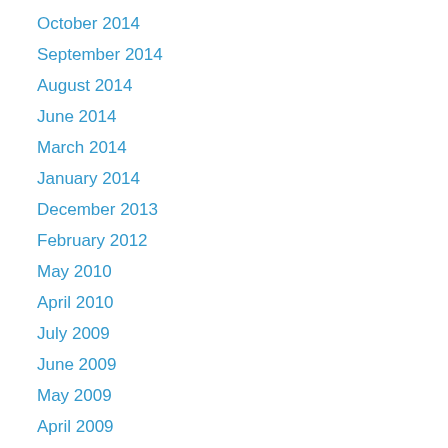October 2014
September 2014
August 2014
June 2014
March 2014
January 2014
December 2013
February 2012
May 2010
April 2010
July 2009
June 2009
May 2009
April 2009
March 2009
February 2009
January 2009
December 2008
November 2008
October 2008